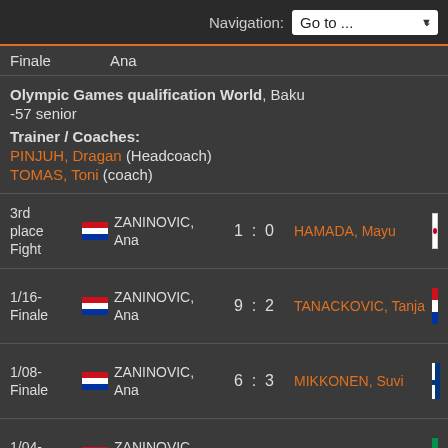Navigation: Go to ...
Finale   Ana
Olympic Games qualification World, Baku
-57 senior
Trainer / Coaches:
PINJUH, Dragan (Headcoach)
TOMAS, Toni (coach)
| Round | Flag | Player | Score | Opponent | Flag |
| --- | --- | --- | --- | --- | --- |
| 3rd place Fight | Croatia | ZANINOVIC, Ana | 1 : 0 | HAMADA, Mayu | Japan |
| 1/16-Finale | Croatia | ZANINOVIC, Ana | 9 : 2 | TANACKOVIC, Tanja | Croatia |
| 1/08-Finale | Croatia | ZANINOVIC, Ana | 6 : 3 | MIKKONEN, Suvi | Finland |
| 1/04-Finale | Croatia | ZANINOVIC, Ana | 15 : 7 | PAOLI, Andrea |  |